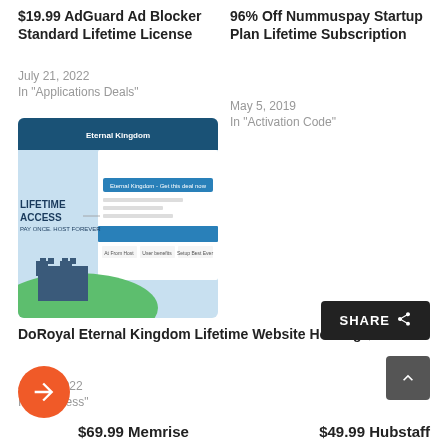$19.99 AdGuard Ad Blocker Standard Lifetime License
July 21, 2022
In "Applications Deals"
96% Off Nummuspay Startup Plan Lifetime Subscription
May 5, 2019
In "Activation Code"
[Figure (screenshot): Thumbnail showing DoRoyal Eternal Kingdom website hosting promotional image with 'Lifetime Access Pay Once. Host Forever' text and castle graphic]
DoRoyal Eternal Kingdom Lifetime Website Hosting $49
July 6, 2022
In "Business"
SHARE
$69.99 Memrise
$49.99 Hubstaff